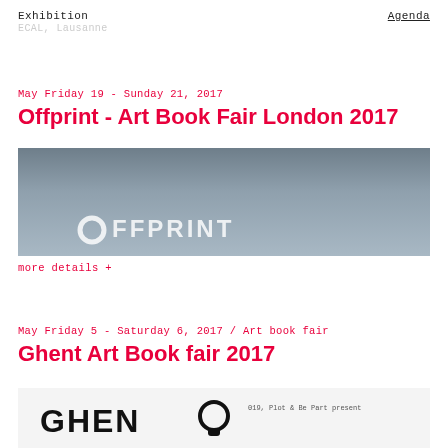Exhibition
ECAL, Lausanne
Agenda
May Friday 19 - Sunday 21, 2017
Offprint - Art Book Fair London 2017
[Figure (photo): Grey gradient background image with white OFFPRINT logo text at bottom]
more details +
May Friday 5 - Saturday 6, 2017 / Art book fair
Ghent Art Book fair 2017
[Figure (logo): White background with GHENT logo (large bold text with circular icon) and small text '019, Plot & Be Part present' on the right]